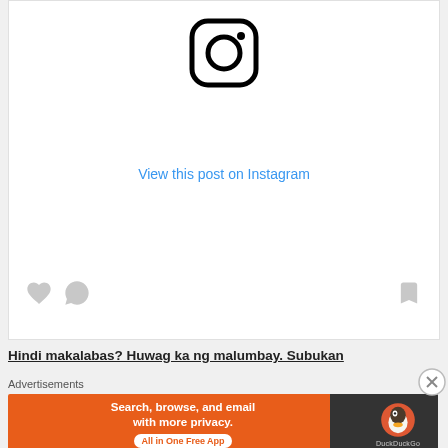[Figure (logo): Instagram logo icon — rounded square outline with a circle and a dot, in black on white background]
View this post on Instagram
[Figure (other): Instagram post embed placeholder with like, comment, and bookmark action icons in light gray]
Hindi makalabas? Huwag ka ng malumbay. Subukan
Advertisements
[Figure (other): DuckDuckGo advertisement banner: orange left side reading 'Search, browse, and email with more privacy. All in One Free App' with white text and pill button; dark right side with DuckDuckGo duck logo and 'DuckDuckGo' text]